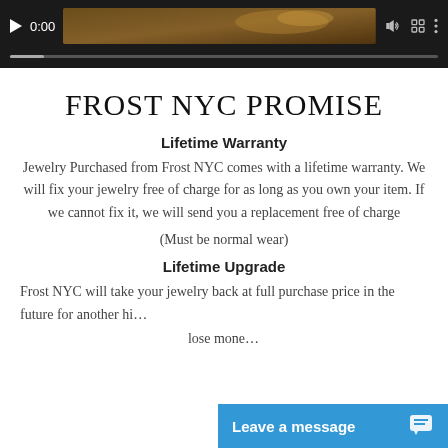[Figure (screenshot): Video player bar showing play button, time 0:00, thumbnail with decorative image, speaker icon, fullscreen icon, and options icon, with a progress bar at bottom.]
FROST NYC PROMISE
Lifetime Warranty
Jewelry Purchased from Frost NYC comes with a lifetime warranty. We will fix your jewelry free of charge for as long as you own your item. If we cannot fix it, we will send you a replacement free of charge
(Must be normal wear)
Lifetime Upgrade
Frost NYC will take your jewelry back at full purchase price in the future for another hi... lose mone...
[Figure (screenshot): Blue chat widget bar at bottom showing 'Leave a message' text with a chat bubble icon.]